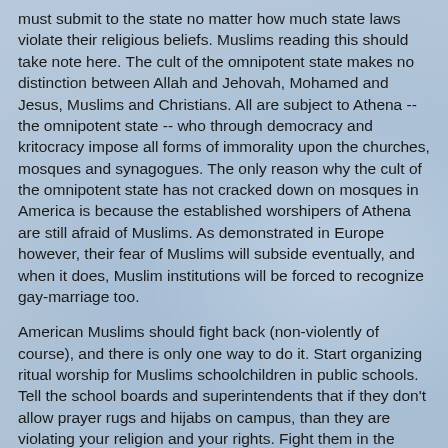must submit to the state no matter how much state laws violate their religious beliefs. Muslims reading this should take note here. The cult of the omnipotent state makes no distinction between Allah and Jehovah, Mohamed and Jesus, Muslims and Christians. All are subject to Athena -- the omnipotent state -- who through democracy and kritocracy impose all forms of immorality upon the churches, mosques and synagogues. The only reason why the cult of the omnipotent state has not cracked down on mosques in America is because the established worshipers of Athena are still afraid of Muslims. As demonstrated in Europe however, their fear of Muslims will subside eventually, and when it does, Muslim institutions will be forced to recognize gay-marriage too.
American Muslims should fight back (non-violently of course), and there is only one way to do it. Start organizing ritual worship for Muslims schoolchildren in public schools. Tell the school boards and superintendents that if they don't allow prayer rugs and hijabs on campus, than they are violating your religion and your rights. Fight them in the courts, and demonstrate, demonstrate, DEMONSTRATE!